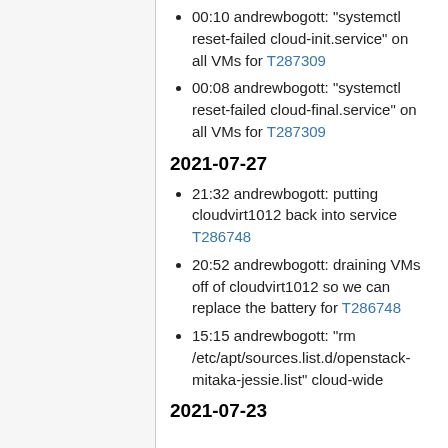00:10 andrewbogott: "systemctl reset-failed cloud-init.service" on all VMs for T287309
00:08 andrewbogott: "systemctl reset-failed cloud-final.service" on all VMs for T287309
2021-07-27
21:32 andrewbogott: putting cloudvirt1012 back into service T286748
20:52 andrewbogott: draining VMs off of cloudvirt1012 so we can replace the battery for T286748
15:15 andrewbogott: "rm /etc/apt/sources.list.d/openstack-mitaka-jessie.list" cloud-wide
2021-07-23